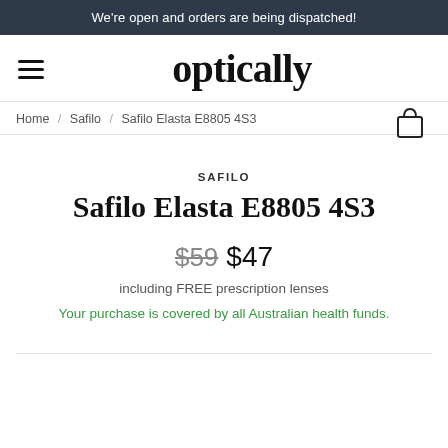We're open and orders are being dispatched!
optically
Home / Safilo / Safilo Elasta E8805 4S3
SAFILO
Safilo Elasta E8805 4S3
$59 $47
including FREE prescription lenses
Your purchase is covered by all Australian health funds.